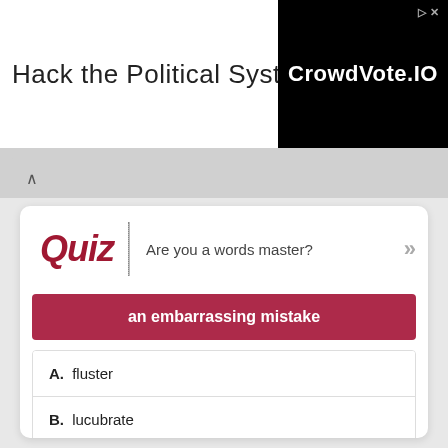[Figure (screenshot): Advertisement banner: 'Hack the Political System.' with CrowdVote.IO logo on black background]
Quiz | Are you a words master?
an embarrassing mistake
A. fluster
B. lucubrate
C. aberrate
D. flub